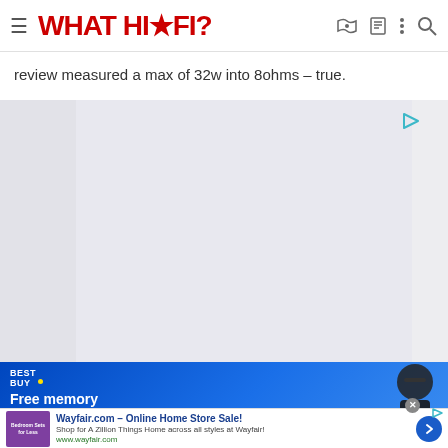WHAT HI-FI?
review measured a max of 32w into 8ohms - true.
[Figure (other): Large grey advertisement placeholder box with a teal play triangle icon in the top right corner]
[Figure (other): Best Buy advertisement banner with blue gradient background showing 'BEST BUY.' logo and text 'Free memory upgrade and' with a dark speaker/device image on the right]
[Figure (other): Wayfair.com online advertisement banner: 'Wayfair.com - Online Home Store Sale! Shop for A Zillion Things Home across all styles at Wayfair! www.wayfair.com' with purple thumbnail and blue arrow button]